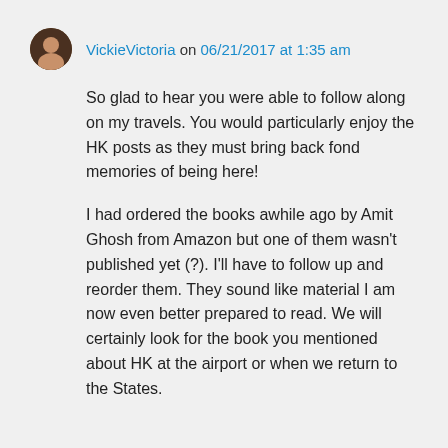VickieVictoria on 06/21/2017 at 1:35 am
So glad to hear you were able to follow along on my travels. You would particularly enjoy the HK posts as they must bring back fond memories of being here!
I had ordered the books awhile ago by Amit Ghosh from Amazon but one of them wasn't published yet (?). I'll have to follow up and reorder them. They sound like material I am now even better prepared to read. We will certainly look for the book you mentioned about HK at the airport or when we return to the States.